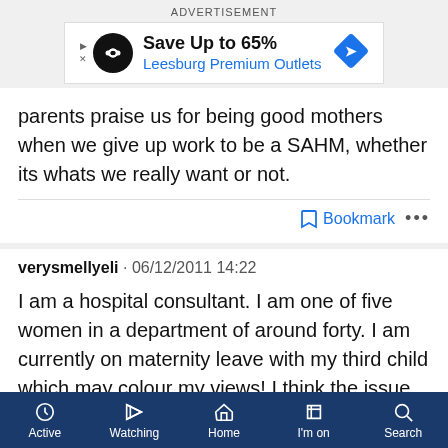[Figure (screenshot): Advertisement banner: Save Up to 65% Leesburg Premium Outlets]
parents praise us for being good mothers when we give up work to be a SAHM, whether its whats we really want or not.
Bookmark ...
verysmellyeli · 06/12/2011 14:22
I am a hospital consultant. I am one of five women in a department of around forty. I am currently on maternity leave with my third child which may colour my views! I think the issue is more complex that 'women should try harder' or 'women should be allowed to stay at home if
Active  Watching  Home  I'm on  Search